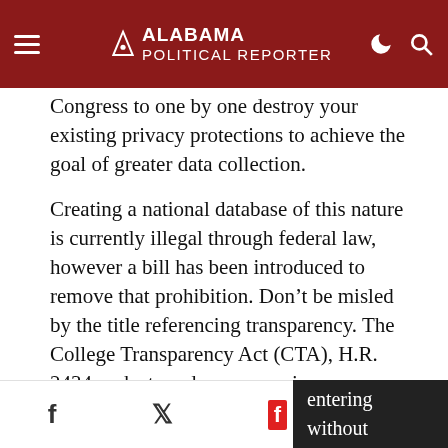Alabama Political Reporter
Congress to one by one destroy your existing privacy protections to achieve the goal of greater data collection.
Creating a national database of this nature is currently illegal through federal law, however a bill has been introduced to remove that prohibition. Don’t be misled by the title referencing transparency. The College Transparency Act (CTA), H.R. 2434 seeks to reduce your privacy protections and that of every student in higher education in America by overturning the Higher Education Act ban on a student unit-record system collection. This has previously prevented personally identifiable information about behavior and other areas in post-secondary education from being collected in this entering without
f  ✓  🖿  ✉